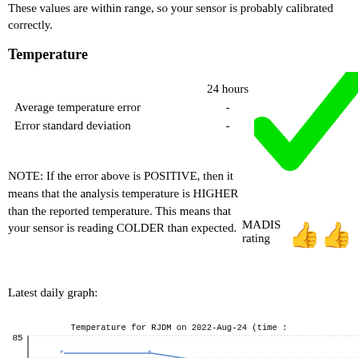These values are within range, so your sensor is probably calibrated correctly.
Temperature
|  | 24 hours |
| --- | --- |
| Average temperature error | - |
| Error standard deviation | - |
[Figure (illustration): Large green checkmark symbol]
NOTE: If the error above is POSITIVE, then it means that the analysis temperature is HIGHER than the reported temperature. This means that your sensor is reading COLDER than expected.
[Figure (illustration): MADIS rating with two green thumbs up icons]
Latest daily graph:
[Figure (line-chart): Line chart showing temperature around 84-85 degrees, partial view]